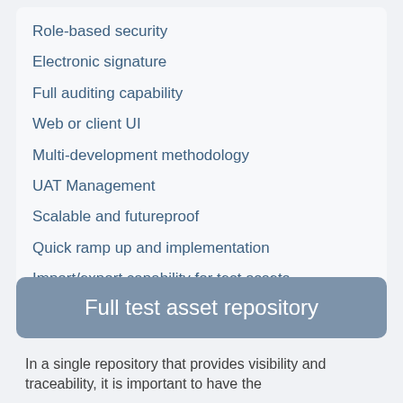Role-based security
Electronic signature
Full auditing capability
Web or client UI
Multi-development methodology
UAT Management
Scalable and futureproof
Quick ramp up and implementation
Import/export capability for test assets
Full test asset repository
In a single repository that provides visibility and traceability, it is important to have the